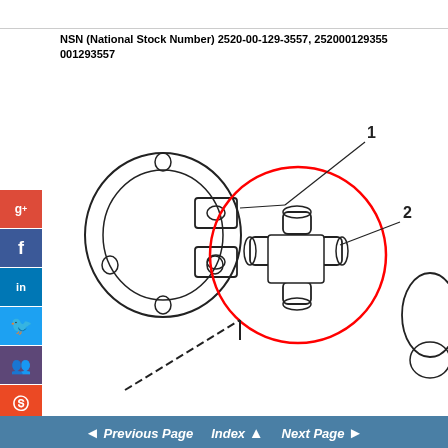NSN (National Stock Number) 2520-00-129-3557, 252000129355 001293557
[Figure (engineering-diagram): Technical exploded/assembly diagram of a universal joint (U-joint) assembly. Item 1 labels a yoke/flange component on the left. Item 2 labels the cross/spider piece (universal joint cross) highlighted within a red circle in the center. Additional yoke components visible on the right edge. Social media share buttons (Google+, Facebook, LinkedIn, Twitter, Pinterest, StumbleUpon) appear on the left side overlay.]
< Previous Page  Index ▲  Next Page >